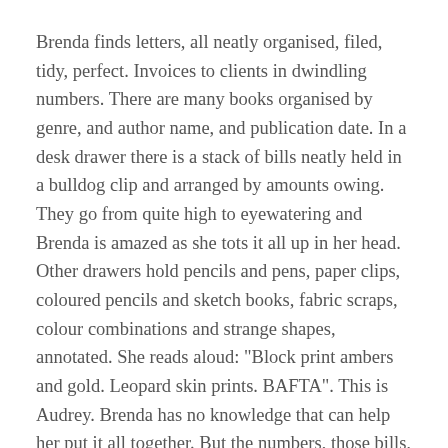Brenda finds letters, all neatly organised, filed, tidy, perfect. Invoices to clients in dwindling numbers. There are many books organised by genre, and author name, and publication date. In a desk drawer there is a stack of bills neatly held in a bulldog clip and arranged by amounts owing. They go from quite high to eyewatering and Brenda is amazed as she tots it all up in her head. Other drawers hold pencils and pens, paper clips, coloured pencils and sketch books, fabric scraps, colour combinations and strange shapes, annotated. She reads aloud: "Block print ambers and gold. Leopard skin prints. BAFTA". This is Audrey. Brenda has no knowledge that can help her put it all together. But the numbers, those bills, the blue skies and smiles tell something of the tale.